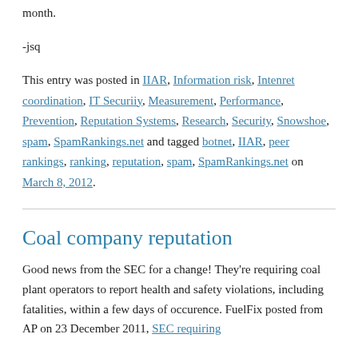month.
-jsq
This entry was posted in IIAR, Information risk, Intenret coordination, IT Securiiy, Measurement, Performance, Prevention, Reputation Systems, Research, Security, Snowshoe, spam, SpamRankings.net and tagged botnet, IIAR, peer rankings, ranking, reputation, spam, SpamRankings.net on March 8, 2012.
Coal company reputation
Good news from the SEC for a change! They're requiring coal plant operators to report health and safety violations, including fatalities, within a few days of occurence. FuelFix posted from AP on 23 December 2011, SEC requiring